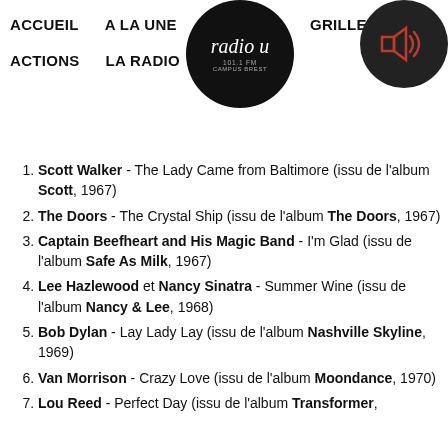ACCUEIL   A LA UNE   [Radio U logo 101.1 FM CAMPUS BREST]   GRILLE   MU... | ACTIONS   LA RADIO
Scott Walker - The Lady Came from Baltimore (issu de l’album Scott, 1967)
The Doors - The Crystal Ship (issu de l’album The Doors, 1967)
Captain Beefheart and His Magic Band - I’m Glad (issu de l’album Safe As Milk, 1967)
Lee Hazlewood et Nancy Sinatra - Summer Wine (issu de l’album Nancy & Lee, 1968)
Bob Dylan - Lay Lady Lay (issu de l’album Nashville Skyline, 1969)
Van Morrison - Crazy Love (issu de l’album Moondance, 1970)
Lou Reed - Perfect Day (issu de l’album Transformer,